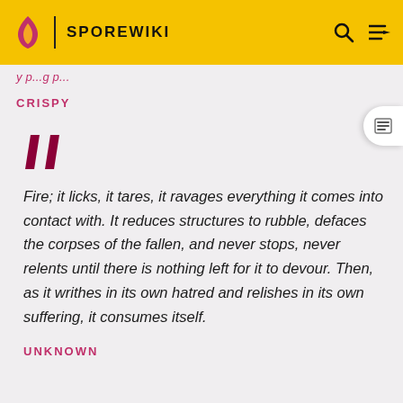SPOREWIKI
(partial link text above)
CRISPY
““
Fire; it licks, it tares, it ravages everything it comes into contact with. It reduces structures to rubble, defaces the corpses of the fallen, and never stops, never relents until there is nothing left for it to devour. Then, as it writhes in its own hatred and relishes in its own suffering, it consumes itself.
UNKNOWN